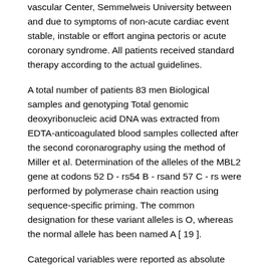vascular Center, Semmelweis University between and due to symptoms of non-acute cardiac event stable, instable or effort angina pectoris or acute coronary syndrome. All patients received standard therapy according to the actual guidelines.
A total number of patients 83 men Biological samples and genotyping Total genomic deoxyribonucleic acid DNA was extracted from EDTA-anticoagulated blood samples collected after the second coronarography using the method of Miller et al. Determination of the alleles of the MBL2 gene at codons 52 D - rs54 B - rsand 57 C - rs were performed by polymerase chain reaction using sequence-specific priming. The common designation for these variant alleles is O, whereas the normal allele has been named A [ 19 ].
Categorical variables were reported as absolute numbers and percentages, and continuous variables as medians